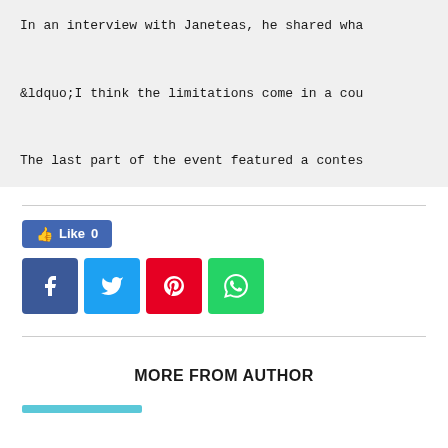In an interview with Janeteas, he shared wha
&ldquo;I think the limitations come in a cou
The last part of the event featured a contes
[Figure (screenshot): Social media like and share buttons: Facebook Like (0), Facebook share, Twitter share, Pinterest share, WhatsApp share]
MORE FROM AUTHOR